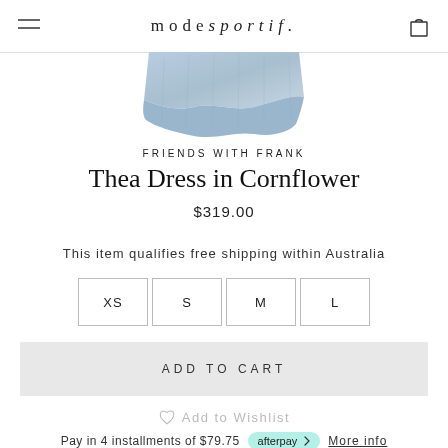mode sportif.
[Figure (illustration): Bottom portion of a light blue chambray/linen dress with ruffle hem, cropped view showing only the skirt/hem area]
FRIENDS WITH FRANK
Thea Dress in Cornflower
$319.00
This item qualifies free shipping within Australia
XS  S  M  L
ADD TO CART
Add to Wishlist
Pay in 4 installments of $79.75  afterpay  More info